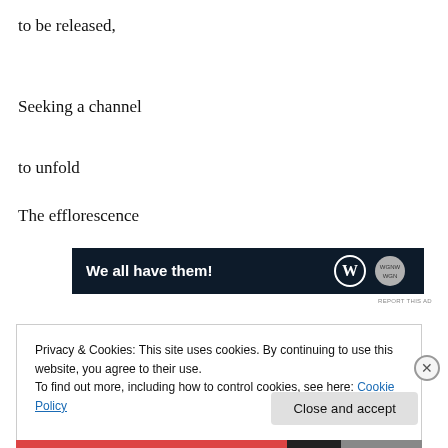to be released,
Seeking a channel
to unfold
The efflorescence
[Figure (other): Advertisement banner with dark navy background, text 'We all have them!' in white bold font, and logos on right side]
REPORT THIS AD
Privacy & Cookies: This site uses cookies. By continuing to use this website, you agree to their use.
To find out more, including how to control cookies, see here: Cookie Policy
Close and accept